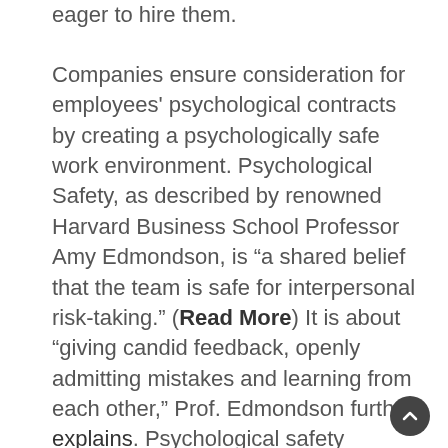eager to hire them.
Companies ensure consideration for employees' psychological contracts by creating a psychologically safe work environment. Psychological Safety, as described by renowned Harvard Business School Professor Amy Edmondson, is “a shared belief that the team is safe for interpersonal risk-taking.” (Read More) It is about “giving candid feedback, openly admitting mistakes and learning from each other,” Prof. Edmondson further explains. Psychological safety involves creating an environment of fairness and trust where each individual is welcome to voice their opinions freely, experiment without judgement and fail without being marked a failure